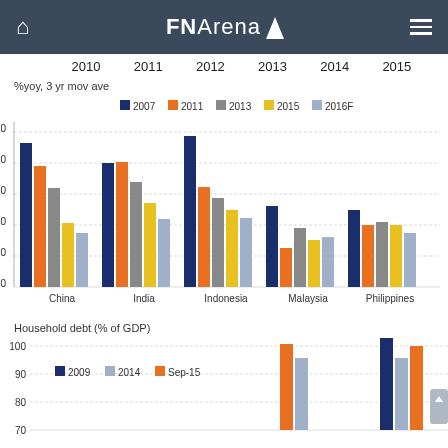FNArena
2010  2011  2012  2013  2014  2015
%yoy, 3 yr mov ave
[Figure (grouped-bar-chart): %yoy, 3 yr mov ave]
Household debt (% of GDP)
[Figure (grouped-bar-chart): Partial bar chart showing household debt as % of GDP for 2009, 2014, Sep-15. Y-axis from 70 to 100. Some countries visible with bars near 70-90 range.]